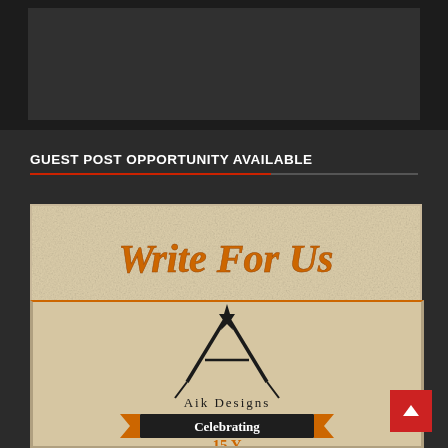[Figure (screenshot): Dark gray rectangular area at top, appears to be a banner or image placeholder with dark background]
GUEST POST OPPORTUNITY AVAILABLE
[Figure (illustration): Write For Us promotional graphic for Aik Designs. Top portion shows 'Write For Us' text in orange italic on aged parchment/beige textured background. Bottom portion shows Aik Designs logo (compass/star symbol), text 'Aik Designs', orange ribbon banner with text 'Celebrating' and partial text below (15 years anniversary implied).]